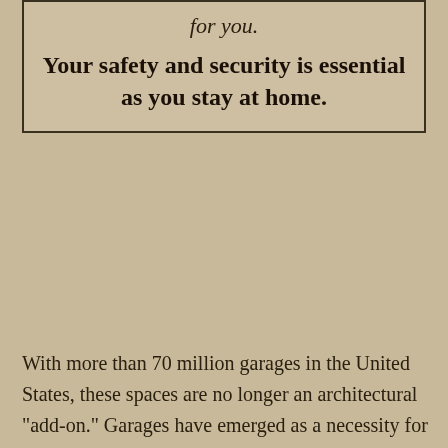for you.
Your safety and security is essential as you stay at home.
With more than 70 million garages in the United States, these spaces are no longer an architectural “add-on.” Garages have emerged as a necessity for homeowners, considering they make a significant contribution to the selling price of the house. This is especially true when this space is well equipped with organizational features like shelves, workbenches and closets, bins, pull-out drawers, baskets, cabinets, wall hooks for hanging up garden tools, etc., while still being able to house the required number of cars.